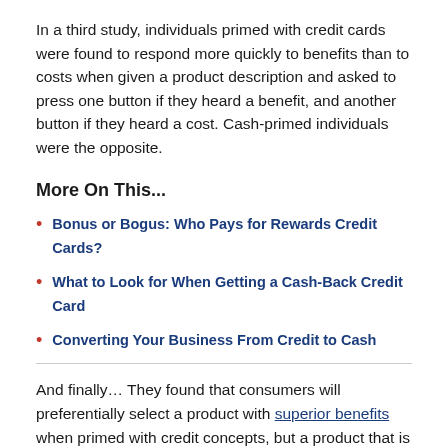In a third study, individuals primed with credit cards were found to respond more quickly to benefits than to costs when given a product description and asked to press one button if they heard a benefit, and another button if they heard a cost. Cash-primed individuals were the opposite.
More On This...
Bonus or Bogus: Who Pays for Rewards Credit Cards?
What to Look for When Getting a Cash-Back Credit Card
Converting Your Business From Credit to Cash
And finally… They found that consumers will preferentially select a product with superior benefits when primed with credit concepts, but a product that is superior cost-wise when primed with cash concepts.
In other words, it seems that dealing with cash (or at least cash concepts) makes you more price sensitive, whereas